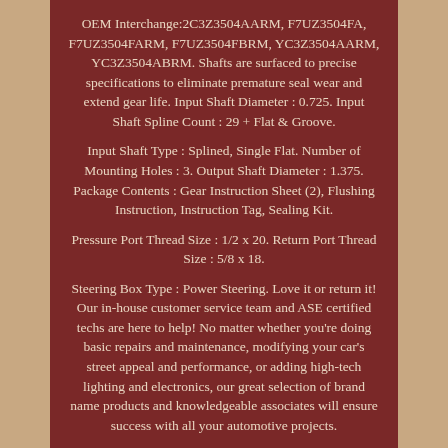OEM Interchange:2C3Z3504AARM, F7UZ3504FA, F7UZ3504FARM, F7UZ3504FBRM, YC3Z3504AARM, YC3Z3504ABRM. Shafts are surfaced to precise specifications to eliminate premature seal wear and extend gear life. Input Shaft Diameter : 0.725. Input Shaft Spline Count : 29 + Flat & Groove.
Input Shaft Type : Splined, Single Flat. Number of Mounting Holes : 3. Output Shaft Diameter : 1.375. Package Contents : Gear Instruction Sheet (2), Flushing Instruction, Instruction Tag, Sealing Kit.
Pressure Port Thread Size : 1/2 x 20. Return Port Thread Size : 5/8 x 18.
Steering Box Type : Power Steering. Love it or return it! Our in-house customer service team and ASE certified techs are here to help! No matter whether you're doing basic repairs and maintenance, modifying your car's street appeal and performance, or adding high-tech lighting and electronics, our great selection of brand name products and knowledgeable associates will ensure success with all your automotive projects.
Love It or Return It. Trucks Adventure's customer service team is here to help! This item is in the category "eBay Motors\Parts & Accessories\Car & Truck Parts & Accessories\Steering & Suspension\Gearboxes, Rack & Pinion". The seller is "trucks-adventure" and is located in...